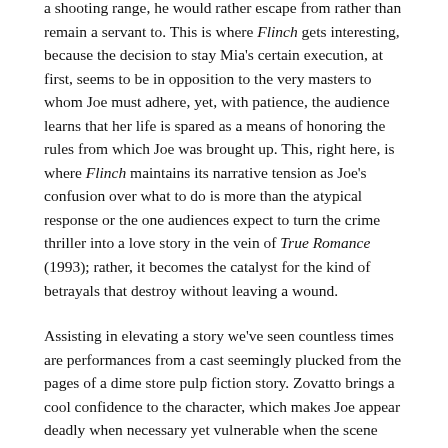a shooting range, he would rather escape from rather than remain a servant to. This is where Flinch gets interesting, because the decision to stay Mia's certain execution, at first, seems to be in opposition to the very masters to whom Joe must adhere, yet, with patience, the audience learns that her life is spared as a means of honoring the rules from which Joe was brought up. This, right here, is where Flinch maintains its narrative tension as Joe's confusion over what to do is more than the atypical response or the one audiences expect to turn the crime thriller into a love story in the vein of True Romance (1993); rather, it becomes the catalyst for the kind of betrayals that destroy without leaving a wound.
Assisting in elevating a story we've seen countless times are performances from a cast seemingly plucked from the pages of a dime store pulp fiction story. Zovatto brings a cool confidence to the character, which makes Joe appear deadly when necessary yet vulnerable when the scene calls for it. Like any good crime thriller, with each new turn, with each new revelation, Zovatto's performative choices convey a mindfulness of the moment. In order for the audience to keep Joe as our cypher, we need to feel some kind of sympathy and the combination of Van Hoy's writing and Zovatto's delivery extracts sympathy for this.